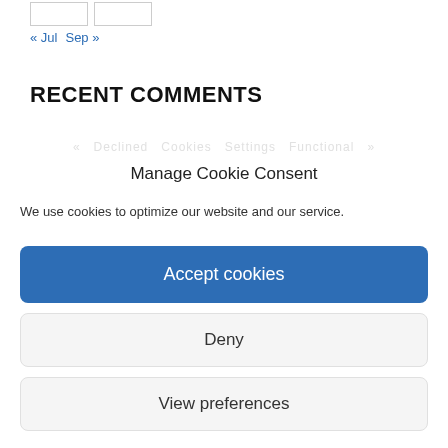[Figure (screenshot): Two small calendar input boxes (outlined rectangles) at top left]
« Jul  Sep »
RECENT COMMENTS
Manage Cookie Consent
We use cookies to optimize our website and our service.
Accept cookies
Deny
View preferences